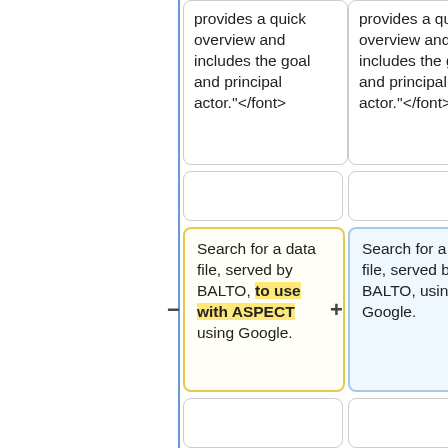[Figure (flowchart): Flowchart comparison with two columns. Left column shows cells with text about a use case summary and search functionality using BALTO with ASPECT highlighted in yellow bold. Right column shows parallel cells with similar content but without ASPECT highlight. Minus and plus indicators on left edges of search cells. Blue vertical line on left margin. Rows include: top text cells with 'provides a quick overview and includes the goal and principal actor."</font>', empty cells, search cells, empty cells, '== Actors ==' cells, and '<font size="-2"' cells at bottom.]